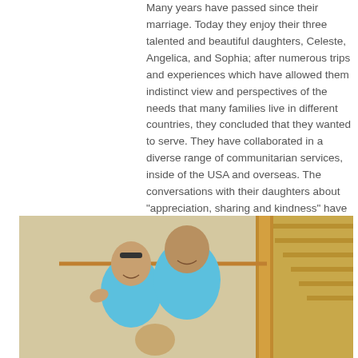Many years have passed since their marriage. Today they enjoy their three talented and beautiful daughters, Celeste, Angelica, and Sophia; after numerous trips and experiences which have allowed them indistinct view and perspectives of the needs that many families live in different countries, they concluded that they wanted to serve. They have collaborated in a diverse range of communitarian services, inside of the USA and overseas. The conversations with their daughters about "appreciation, sharing and kindness" have been the inspiration to create this project of bringing help and hope to many families that suffer the lack of essential resources to live.
[Figure (photo): A family photo showing a man and woman (both wearing light blue polo shirts) posing together near a wooden staircase railing. There appears to be a child partially visible below them.]